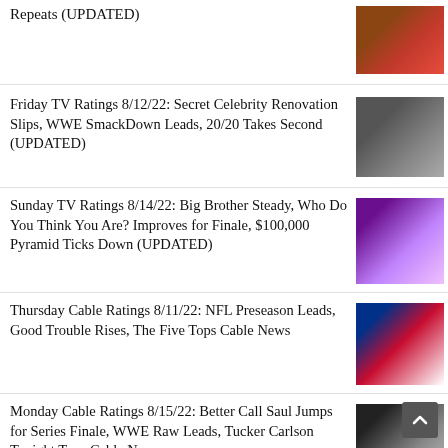Repeats (UPDATED)
Friday TV Ratings 8/12/22: Secret Celebrity Renovation Slips, WWE SmackDown Leads, 20/20 Takes Second (UPDATED)
Sunday TV Ratings 8/14/22: Big Brother Steady, Who Do You Think You Are? Improves for Finale, $100,000 Pyramid Ticks Down (UPDATED)
Thursday Cable Ratings 8/11/22: NFL Preseason Leads, Good Trouble Rises, The Five Tops Cable News
Monday Cable Ratings 8/15/22: Better Call Saul Jumps for Series Finale, WWE Raw Leads, Tucker Carlson Tonight Tops Cable News
Monday TV Ratings 8/15/22: Claim To Fame Ticks Back Up, The Bachelorette and